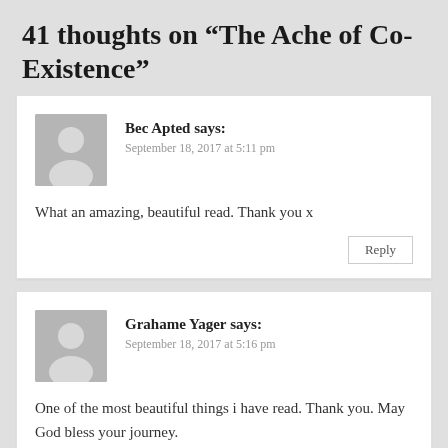41 thoughts on “The Ache of Co-Existence”
Bec Apted says:
September 18, 2017 at 5:11 pm

What an amazing, beautiful read. Thank you x
Grahame Yager says:
September 18, 2017 at 5:16 pm

One of the most beautiful things i have read. Thank you. May God bless your journey.